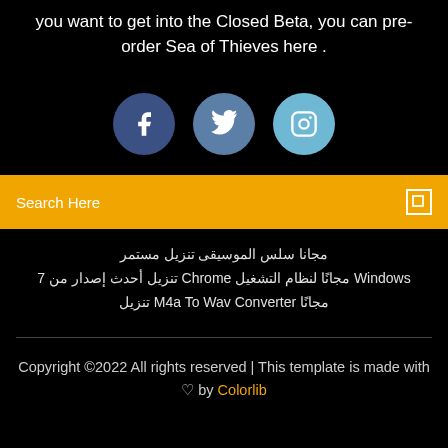you want to get into the Closed Beta, you can pre-order Sea of Thieves here .
[Figure (infographic): Three social media icon circles: Facebook (dark blue), Twitter (medium blue), Instagram (light blue)]
Search Here
مجانا سلس الموسيقى تنزيل مستمر
Windows مجانًا لنظام التشغيل Chrome تنزيل أحدث إصدار من 7
مجانًا M4a To Wav Converter تنزيل
Copyright ©2022 All rights reserved | This template is made with ♡ by Colorlib